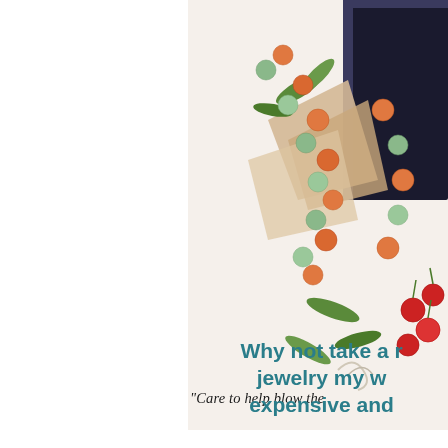[Figure (illustration): Colorful illustration of beaded jewelry strands (orange, green/teal beads) with leaves and red berries/cherries, against a light background with a dark frame element at top right.]
“Care to help blow the
Why not take a r jewelry my w expensive and